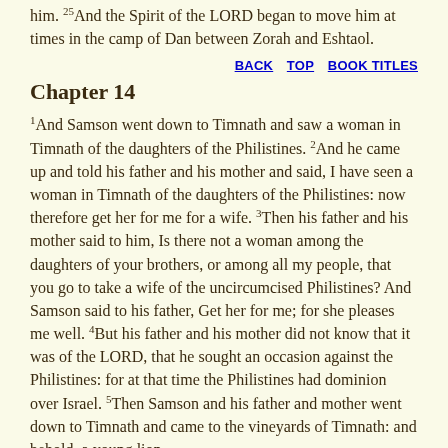him. And the Spirit of the LORD began to move him at times in the camp of Dan between Zorah and Eshtaol.
BACK   TOP   BOOK TITLES
Chapter 14
1And Samson went down to Timnath and saw a woman in Timnath of the daughters of the Philistines. 2And he came up and told his father and his mother and said, I have seen a woman in Timnath of the daughters of the Philistines: now therefore get her for me for a wife. 3Then his father and his mother said to him, Is there not a woman among the daughters of your brothers, or among all my people, that you go to take a wife of the uncircumcised Philistines? And Samson said to his father, Get her for me; for she pleases me well. 4But his father and his mother did not know that it was of the LORD, that he sought an occasion against the Philistines: for at that time the Philistines had dominion over Israel. 5Then Samson and his father and mother went down to Timnath and came to the vineyards of Timnath: and behold, a young lion...